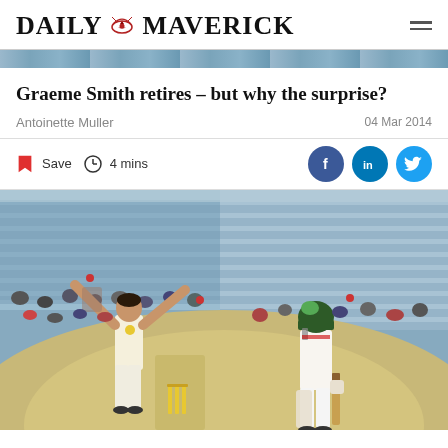DAILY MAVERICK
[Figure (photo): Narrow strip of a cricket match photo at top of page]
Graeme Smith retires – but why the surprise?
Antoinette Muller
04 Mar 2014
Save  4 mins
[Figure (photo): Cricket match photo showing an Australian bowler celebrating with arms raised while a South African batsman in green helmet stands nearby, crowd in the background at a cricket stadium]